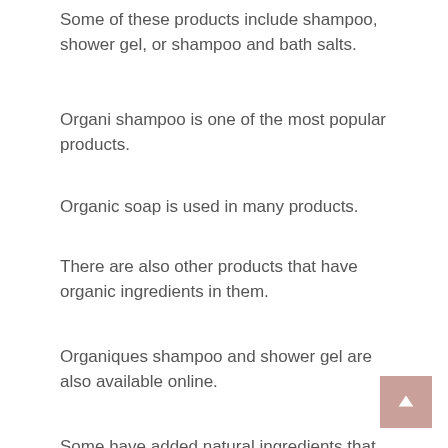Some of these products include shampoo, shower gel, or shampoo and bath salts.
Organi shampoo is one of the most popular products.
Organic soap is used in many products.
There are also other products that have organic ingredients in them.
Organiques shampoo and shower gel are also available online.
Some have added natural ingredients that are not in the natural shampoo.
Organic shampoos, like the Organics shampoo and Conditioner, are made with non-organic